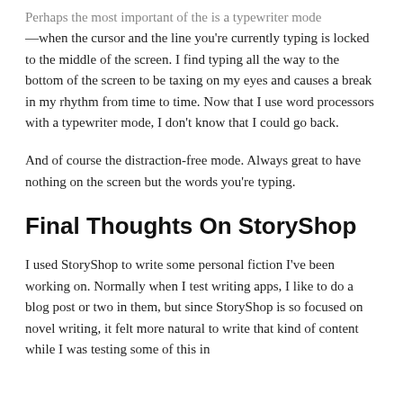Perhaps the most important of the is a typewriter mode—when the cursor and the line you're currently typing is locked to the middle of the screen. I find typing all the way to the bottom of the screen to be taxing on my eyes and causes a break in my rhythm from time to time. Now that I use word processors with a typewriter mode, I don't know that I could go back.
And of course the distraction-free mode. Always great to have nothing on the screen but the words you're typing.
Final Thoughts On StoryShop
I used StoryShop to write some personal fiction I've been working on. Normally when I test writing apps, I like to do a blog post or two in them, but since StoryShop is so focused on novel writing, it felt more natural to write that kind of content while I was testing some of this in...